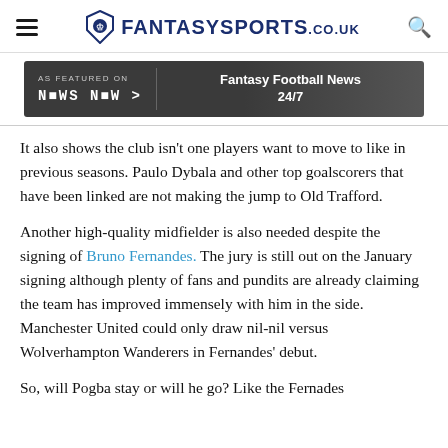FantasySports.co.uk
[Figure (other): AS FEATURED ON News Now > | Fantasy Football News 24/7 advertisement banner]
It also shows the club isn't one players want to move to like in previous seasons. Paulo Dybala and other top goalscorers that have been linked are not making the jump to Old Trafford.
Another high-quality midfielder is also needed despite the signing of Bruno Fernandes. The jury is still out on the January signing although plenty of fans and pundits are already claiming the team has improved immensely with him in the side. Manchester United could only draw nil-nil versus Wolverhampton Wanderers in Fernandes' debut.
So, will Pogba stay or will he go? Like the Fernades